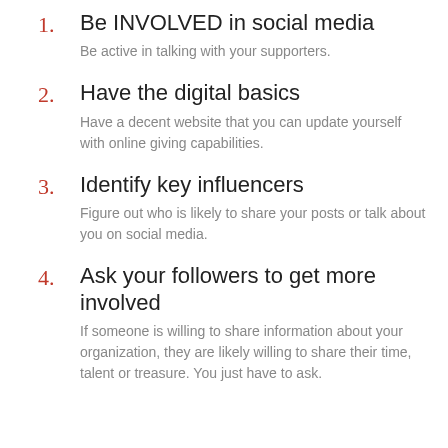1. Be INVOLVED in social media
Be active in talking with your supporters.
2. Have the digital basics
Have a decent website that you can update yourself with online giving capabilities.
3. Identify key influencers
Figure out who is likely to share your posts or talk about you on social media.
4. Ask your followers to get more involved
If someone is willing to share information about your organization, they are likely willing to share their time, talent or treasure. You just have to ask.